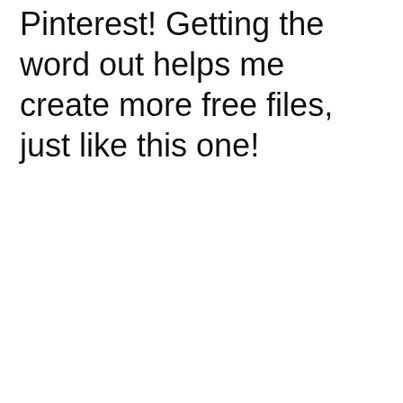Pinterest! Getting the word out helps me create more free files, just like this one!